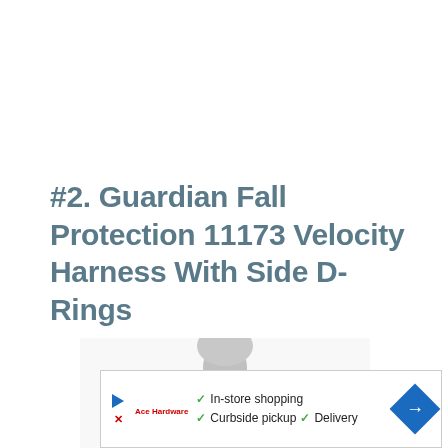#2. Guardian Fall Protection 11173 Velocity Harness With Side D-Rings
[Figure (photo): A silver mannequin torso wearing the Guardian Fall Protection 11173 Velocity Harness with orange/red straps and black buckles, shown from the front upper body.]
In-store shopping | Curbside pickup | Delivery (advertisement banner with play/close buttons and a blue arrow navigation element)